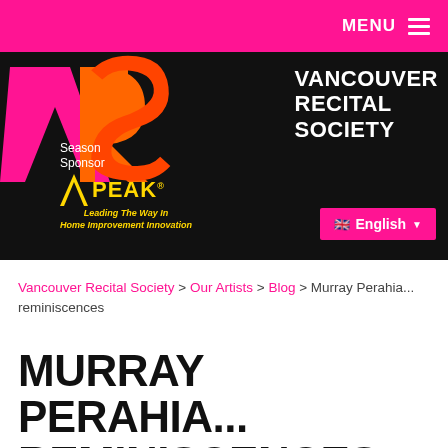MENU
[Figure (logo): Vancouver Recital Society banner with VRS logo (V in pink, R in orange, S in orange on black background), text VANCOUVER RECITAL SOCIETY in white, Season Sponsor PEAK logo in yellow, and English language selector button]
Vancouver Recital Society > Our Artists > Blog > Murray Perahia... reminiscences
MURRAY PERAHIA... REMINISCENCES